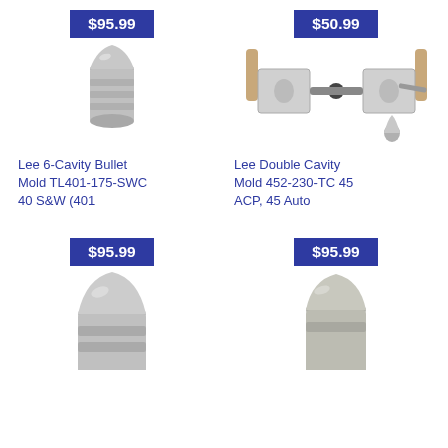$95.99
[Figure (photo): Lee 6-Cavity Bullet Mold TL401-175-SWC, metallic bullet mold top view]
$50.99
[Figure (photo): Lee Double Cavity Mold 452-230-TC 45 ACP, 45 Auto - mold handles open with small bullet]
Lee 6-Cavity Bullet Mold TL401-175-SWC 40 S&W (401
Lee Double Cavity Mold 452-230-TC 45 ACP, 45 Auto
$95.99
[Figure (photo): Bullet mold product, partially visible, round nose bullet top]
$95.99
[Figure (photo): Bullet mold product, partially visible, truncated cone bullet top]